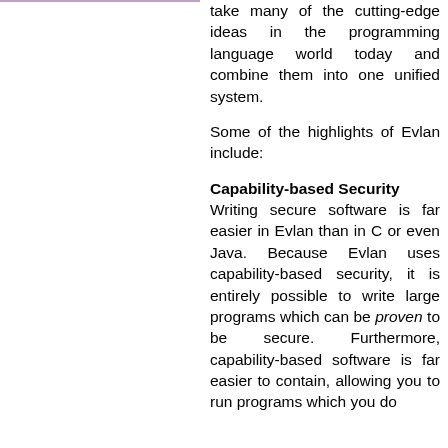take many of the cutting-edge ideas in the programming language world today and combine them into one unified system.
Some of the highlights of Evlan include:
Capability-based Security
Writing secure software is far easier in Evlan than in C or even Java. Because Evlan uses capability-based security, it is entirely possible to write large programs which can be proven to be secure. Furthermore, capability-based software is far easier to contain, allowing you to run programs which you do